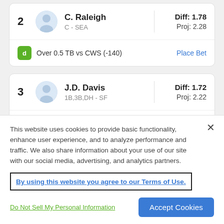2  C. Raleigh  C - SEA  Diff: 1.78  Proj: 2.28  Over 0.5 TB vs CWS (-140)  Place Bet
3  J.D. Davis  1B,3B,DH - SF  Diff: 1.72  Proj: 2.22  Over 0.5 TB @ LAD (-135)  Place Bet
This website uses cookies to provide basic functionality, enhance user experience, and to analyze performance and traffic. We also share information about your use of our site with our social media, advertising, and analytics partners.
By using this website you agree to our Terms of Use.
Do Not Sell My Personal Information
Accept Cookies